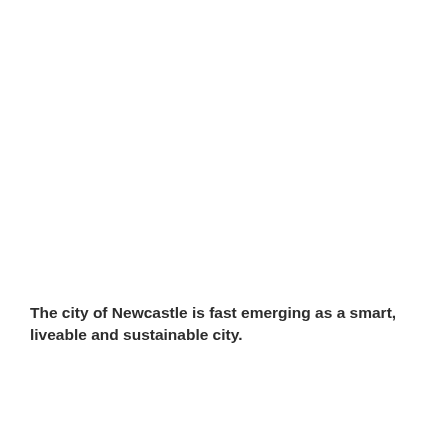The city of Newcastle is fast emerging as a smart, liveable and sustainable city.